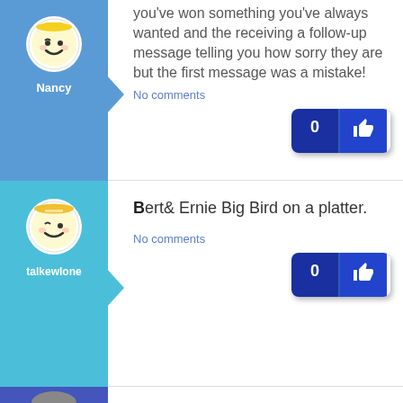you've won something you've always wanted and the receiving a follow-up message telling you how sorry they are but the first message was a mistake!
No comments
[Figure (illustration): Nancy user avatar with smiley face icon on blue background]
Bert& Ernie Big Bird on a platter.
No comments
[Figure (illustration): talkewlone user avatar with winking smiley face icon on teal background]
[Figure (photo): Partially visible user avatar at bottom of page on blue background]